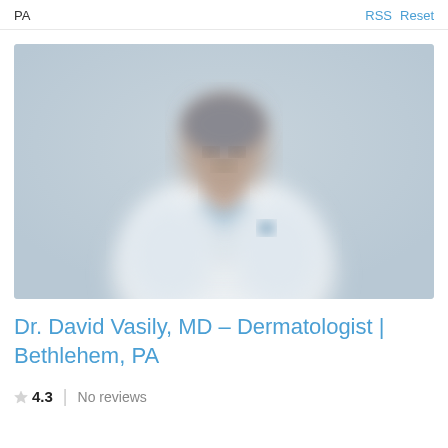PA  RSS  Reset
[Figure (photo): Blurred photo of a male doctor in a white lab coat standing against a light gray background]
Dr. David Vasily, MD – Dermatologist | Bethlehem, PA
4.3  No reviews